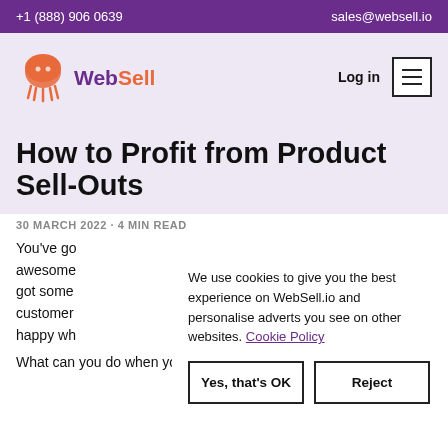+1 (888) 906 0639   sales@websell.io
[Figure (logo): WebSell logo with jellyfish icon and text 'WebSell' in purple and orange, with Log in link and hamburger menu button]
How to Profit from Product Sell-Outs
30 MARCH 2022 · 4 MIN READ
You've go... awesome... got some... customer... happy wh...
We use cookies to give you the best experience on WebSell.io and personalise adverts you see on other websites. Cookie Policy
What can you do when your product sells out and how can